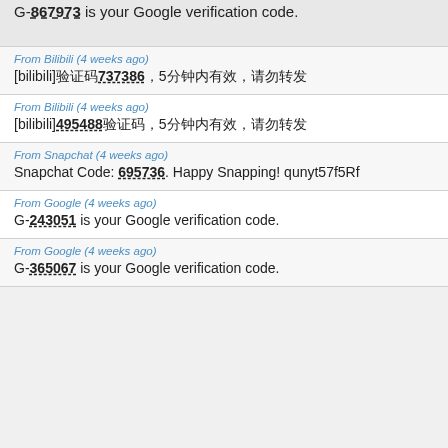G-867973 is your Google verification code.
From Bilibili (4 weeks ago)
[bilibili]验证码737386，5分钟内有效，请勿转发
From Bilibili (4 weeks ago)
[bilibili]495488验证码，5分钟内有效，请勿转发
From Snapchat (4 weeks ago)
Snapchat Code: 695736. Happy Snapping! qunyt57f5Rf
From Google (4 weeks ago)
G-243051 is your Google verification code.
From Google (4 weeks ago)
G-365067 is your Google verification code.